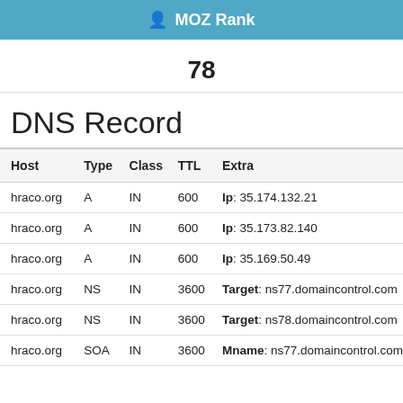MOZ Rank
78
DNS Record
| Host | Type | Class | TTL | Extra |
| --- | --- | --- | --- | --- |
| hraco.org | A | IN | 600 | Ip: 35.174.132.21 |
| hraco.org | A | IN | 600 | Ip: 35.173.82.140 |
| hraco.org | A | IN | 600 | Ip: 35.169.50.49 |
| hraco.org | NS | IN | 3600 | Target: ns77.domaincontrol.com |
| hraco.org | NS | IN | 3600 | Target: ns78.domaincontrol.com |
| hraco.org | SOA | IN | 3600 | Mname: ns77.domaincontrol.com |